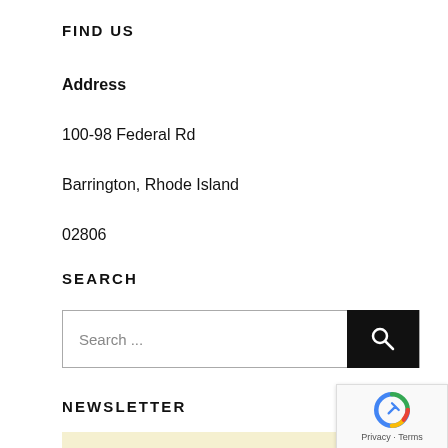FIND US
Address
100-98 Federal Rd
Barrington,  Rhode Island
02806
SEARCH
Search ...
NEWSLETTER
[Figure (other): reCAPTCHA badge with Google logo, showing Privacy and Terms links]